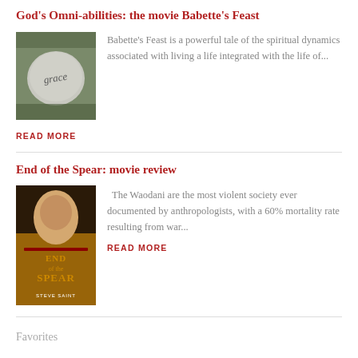God's Omni-abilities: the movie Babette's Feast
[Figure (photo): A rock with the word 'grace' written in cursive on it, surrounded by foliage]
Babette's Feast is a powerful tale of the spiritual dynamics associated with living a life integrated with the life of...
READ MORE
End of the Spear: movie review
[Figure (photo): Book/movie cover for 'End of the Spear' by Steve Saint showing a man's face]
The Waodani are the most violent society ever documented by anthropologists, with a 60% mortality rate resulting from war...
READ MORE
Favorites